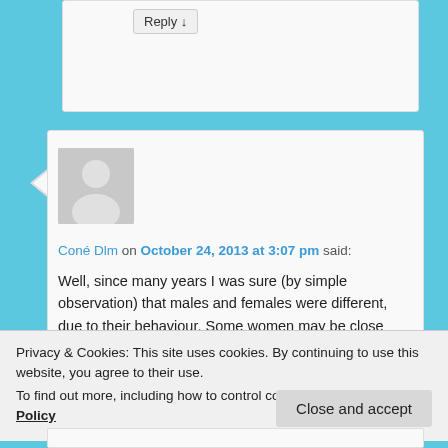Reply ↓
[Figure (illustration): User avatar placeholder silhouette image in grey]
Coné Dlm on October 24, 2013 at 3:07 pm said:
Well, since many years I was sure (by simple observation) that males and females were different, due to their behaviour. Some women may be close to angels and some other close to other creatures. If you find one of the first
Privacy & Cookies: This site uses cookies. By continuing to use this website, you agree to their use.
To find out more, including how to control cookies, see here: Cookie Policy
Close and accept